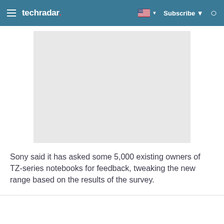techradar | Subscribe
[Figure (photo): Gray placeholder image area for a product photo related to Sony TZ-series notebooks]
Sony said it has asked some 5,000 existing owners of TZ-series notebooks for feedback, tweaking the new range based on the results of the survey.